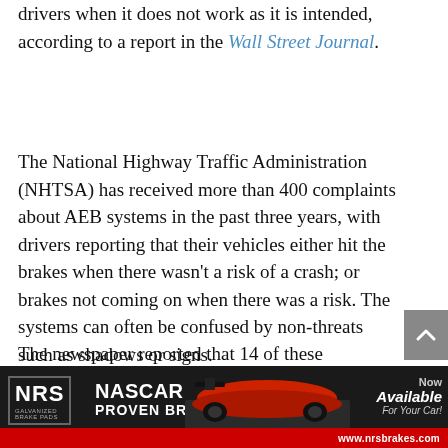drivers when it does not work as it is intended, according to a report in the Wall Street Journal.
The National Highway Traffic Administration (NHTSA) has received more than 400 complaints about AEB systems in the past three years, with drivers reporting that their vehicles either hit the brakes when there wasn't a risk of a crash; or brakes not coming on when there was a risk. The systems can often be confused by non-threats such as shadows or signs.
The newspaper reported that 14 of these complaints involved a crash, most of them caused when the vehicle braked suddenly and
[Figure (advertisement): NRS Galvanized Brake Pads advertisement featuring NASCAR Proven Brakes with a race car image and text 'Now Available For Your Car!' and website www.nrsbrakes.com]